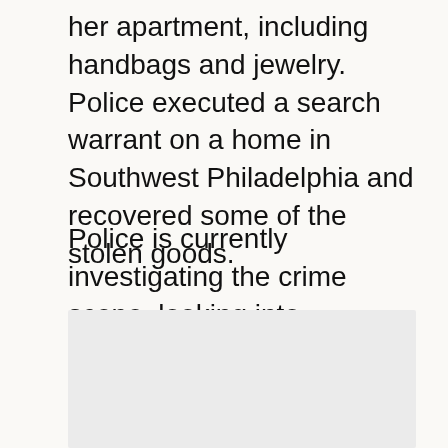her apartment, including handbags and jewelry. Police executed a search warrant on a home in Southwest Philadelphia and recovered some of the stolen goods.
Police is currently investigating the crime scene, looking into surveillance video footage from cameras facing the property.
[Figure (photo): A light gray rectangular image placeholder area]